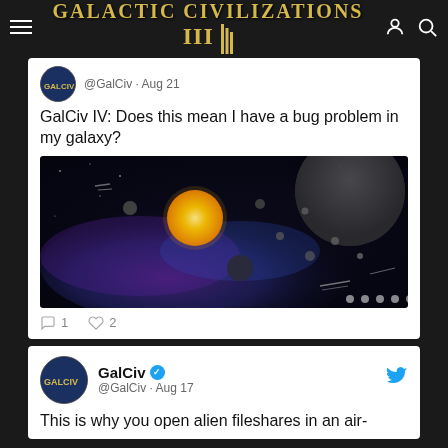Galactic Civilizations III
@GalCiv · Aug 21
GalCiv IV: Does this mean I have a bug problem in my galaxy?
[Figure (screenshot): Space game screenshot showing a solar system with a yellow sun, planets, and purple nebula on a dark background]
1  2
GalCiv @GalCiv · Aug 17
This is why you open alien fileshares in an air-